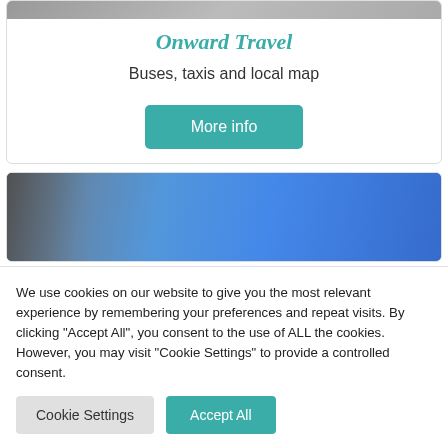[Figure (photo): Partial top of a card showing a cropped photograph (building/transport scene)]
Onward Travel
Buses, taxis and local map
[Figure (other): More info button — teal rounded rectangle with white text]
[Figure (photo): Second card partial image — building against a bright blue sky]
We use cookies on our website to give you the most relevant experience by remembering your preferences and repeat visits. By clicking "Accept All", you consent to the use of ALL the cookies. However, you may visit "Cookie Settings" to provide a controlled consent.
[Figure (other): Cookie Settings button — light grey rounded rectangle]
[Figure (other): Accept All button — teal rounded rectangle with white text]